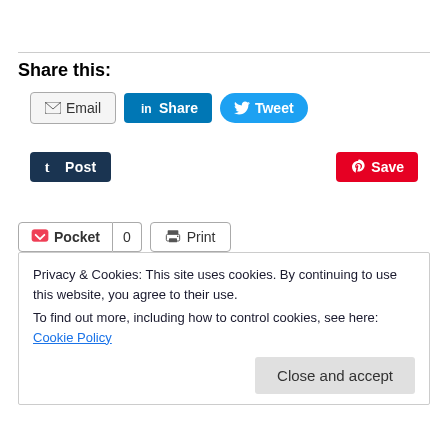Share this:
Email | Share | Tweet | Post | Save | Pocket | 0 | Print
Privacy & Cookies: This site uses cookies. By continuing to use this website, you agree to their use.
To find out more, including how to control cookies, see here: Cookie Policy
Close and accept